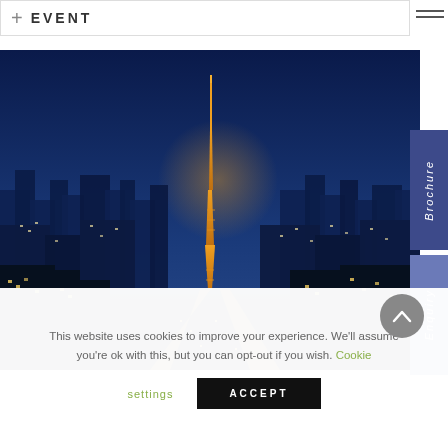+ EVENT
[Figure (photo): Aerial night panorama of Tokyo skyline featuring the illuminated Tokyo Tower in gold/orange light, surrounded by a dense cityscape of skyscrapers and city lights, with a deep blue night sky]
Brochure
Enquiry
This website uses cookies to improve your experience. We'll assume you're ok with this, but you can opt-out if you wish. Cookie settings ACCEPT